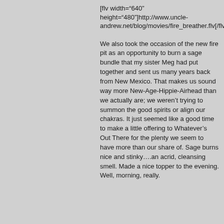[flv width="640" height="480"]http://www.uncle-andrew.net/blog/movies/fire_breather.flv[/flv]
We also took the occasion of the new fire pit as an opportunity to burn a sage bundle that my sister Meg had put together and sent us many years back from New Mexico. That makes us sound way more New-Age-Hippie-Airhead than we actually are; we weren't trying to summon the good spirits or align our chakras. It just seemed like a good time to make a little offering to Whatever's Out There for the plenty we seem to have more than our share of. Sage burns nice and stinky….an acrid, cleansing smell. Made a nice topper to the evening. Well, morning, really.